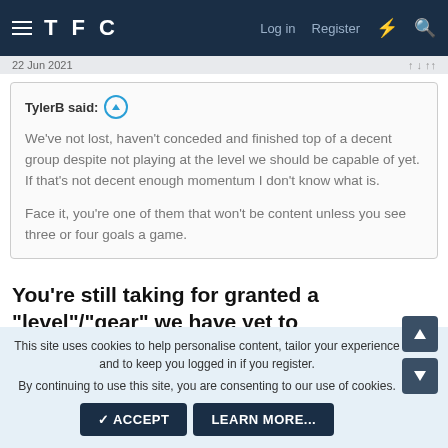TFC  Log in  Register
22 Jun 2021
TylerB said:
We've not lost, haven't conceded and finished top of a decent group despite not playing at the level we should be capable of yet. If that's not decent enough momentum I don't know what is.

Face it, you're one of them that won't be content unless you see three or four goals a game.
You're still taking for granted a "level"/"gear" we have yet to experience.....
This site uses cookies to help personalise content, tailor your experience and to keep you logged in if you register.
By continuing to use this site, you are consenting to our use of cookies.